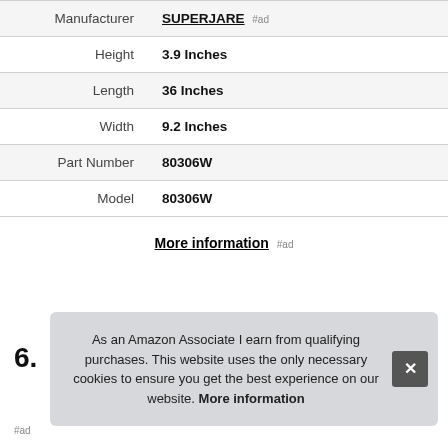| Label | Value |
| --- | --- |
| Manufacturer | SUPERJARE #ad |
| Height | 3.9 Inches |
| Length | 36 Inches |
| Width | 9.2 Inches |
| Part Number | 80306W |
| Model | 80306W |
More information #ad
6.
As an Amazon Associate I earn from qualifying purchases. This website uses the only necessary cookies to ensure you get the best experience on our website. More information
#ad